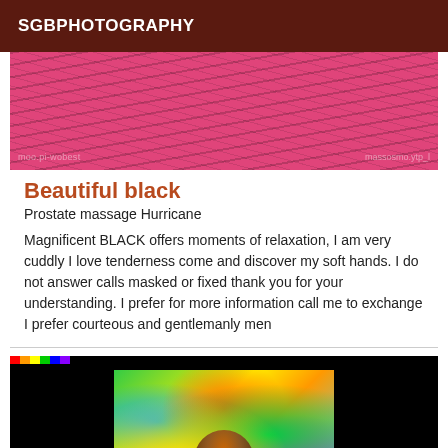SGBPHOTOGRAPHY
[Figure (photo): Pink textured surface with diagonal stripe patterns, pinkish-magenta color with watermark text visible]
Beautiful black
Prostate massage Hurricane
Magnificent BLACK offers moments of relaxation, I am very cuddly I love tenderness come and discover my soft hands. I do not answer calls masked or fixed thank you for your understanding. I prefer for more information call me to exchange I prefer courteous and gentlemanly men
[Figure (photo): Black background with rainbow bar at top left, inner white-bordered photo showing a person holding a Brazilian flag with colorful psychedelic green and yellow coloring]